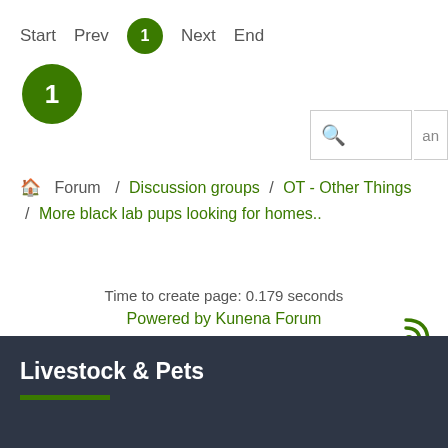Start  Prev  1  Next  End
1
Forum / Discussion groups / OT - Other Things / More black lab pups looking for homes..
Time to create page: 0.179 seconds
Powered by Kunena Forum
Livestock & Pets